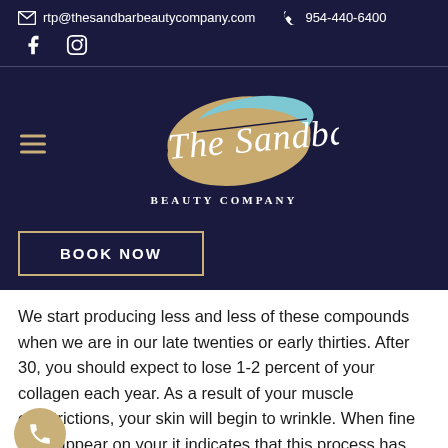rtp@thesandbarbeautycompany.com  954-440-6400
[Figure (logo): The Sandbar Beauty Company logo with sandbar/ocean illustration and script text]
BOOK NOW
We start producing less and less of these compounds when we are in our late twenties or early thirties. After 30, you should expect to lose 1-2 percent of your collagen each year. As a result of your muscle constrictions, your skin will begin to wrinkle. When fine lines appear on your it indicates that this process has started. Wrinkles eventually take the place of fine lines. People who do